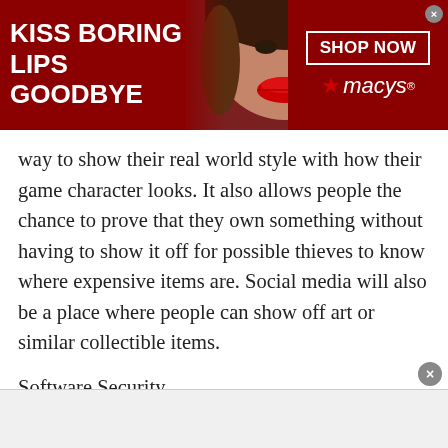[Figure (screenshot): Macy's advertisement banner with dark red background, model with red lips in center, text 'KISS BORING LIPS GOODBYE' on left, 'SHOP NOW' button and Macy's star logo on right.]
way to show their real world style with how their game character looks. It also allows people the chance to prove that they own something without having to show it off for possible thieves to know where expensive items are. Social media will also be a place where people can show off art or similar collectible items.
Software Security
An entrepreneur like Alexander Djerassi can tell about the headaches of when their products are copied and sold as the original would be. Software piracy is